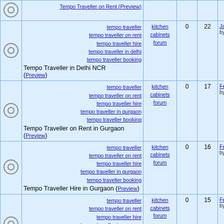|  | Topic | Forum | Replies | Views | Last Post |
| --- | --- | --- | --- | --- | --- |
|  | tempo traveller / tempo traveller on rent / tempo traveller hire / tempo traveller in delhi / tempo traveller booking
Tempo Traveller in Delhi NCR (Preview) | kitchen cabinets forum | 0 | 22 | Jan 28, 2022 by caryatri |
|  | tempo traveller / tempo traveller on rent / tempo traveller hire / tempo traveller in gurgaon / tempo traveller booking
Tempo Traveller on Rent in Gurgaon (Preview) | kitchen cabinets forum | 0 | 17 | Feb 4, 2022 by tempogurgaon |
|  | tempo traveller / tempo traveller on rent / tempo traveller hire / tempo traveller in gurgaon / tempo traveller booking
Tempo Traveller Hire in Gurgaon (Preview) | kitchen cabinets forum | 0 | 16 | Feb 4, 2022 by tempogurgaon |
|  | tempo traveller / tempo traveller on rent / tempo traveller hire / tempo traveller in gurgaon / tempo traveller booking
Tempo Traveller on Hire in Gurgaon (Preview) | kitchen cabinets forum | 0 | 15 | Feb 4, 2022 by tempogurgaon |
|  | tempo traveller / tempo traveller on rent / ... | kitchen cabinets forum | 0 | 19 | Feb 4, 2022 by caryatri |